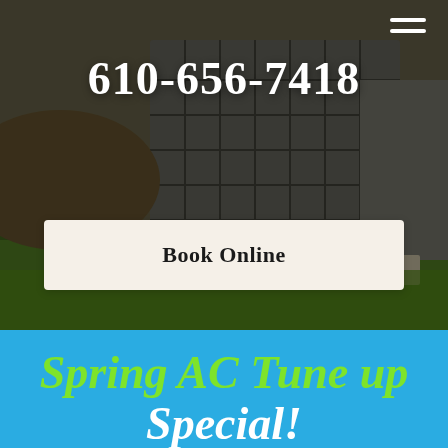[Figure (photo): Outdoor HVAC air conditioning unit on concrete pad surrounded by green grass, with background showing dirt/sky. Photograph used as hero background image.]
610-656-7418
Book Online
Spring AC Tune up
Special!